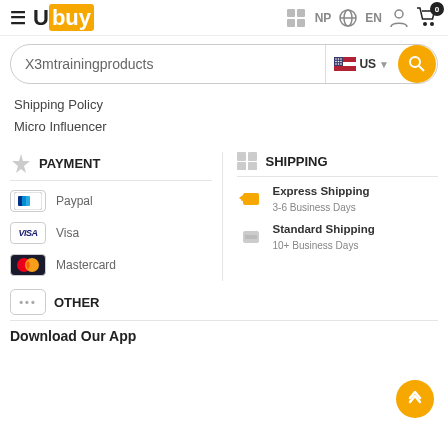Ubuy NP EN [user icon] [cart 0]
X3mtrainingproducts US [search]
Shipping Policy
Micro Influencer
PAYMENT
Paypal
Visa
Mastercard
SHIPPING
Express Shipping
3-6 Business Days
Standard Shipping
10+ Business Days
OTHER
Download Our App